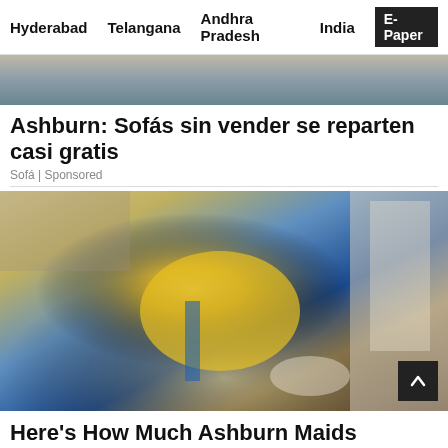Hyderabad   Telangana   Andhra Pradesh   India   E-Paper
[Figure (photo): Top portion of a sofa advertisement image showing a couch and pillows]
Ashburn: Sofás sin vender se reparten casi gratis
Sofá | Sponsored
[Figure (photo): A woman in a yellow uniform shirt cleaning a hardwood floor on hands and knees, inside a home hallway]
Here's How Much Ashburn Maids Charge To Clean A House